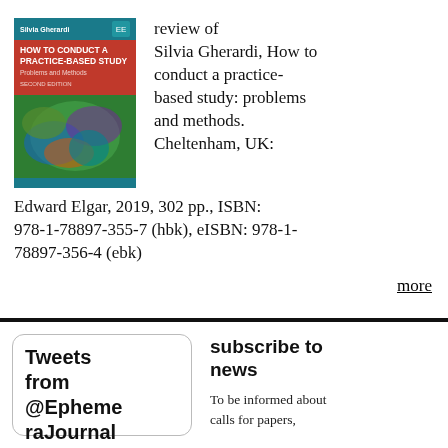[Figure (illustration): Book cover of 'How to Conduct a Practice-Based Study: Problems and Methods' by Silvia Gherardi, second edition. Cover features colorful abstract imagery with teal, red, and green tones.]
review of Silvia Gherardi, How to conduct a practice-based study: problems and methods. Cheltenham, UK: Edward Elgar, 2019, 302 pp., ISBN: 978-1-78897-355-7 (hbk), eISBN: 978-1-78897-356-4 (ebk)
more
Tweets from @EphemeraJournal
subscribe to news
To be informed about calls for papers,